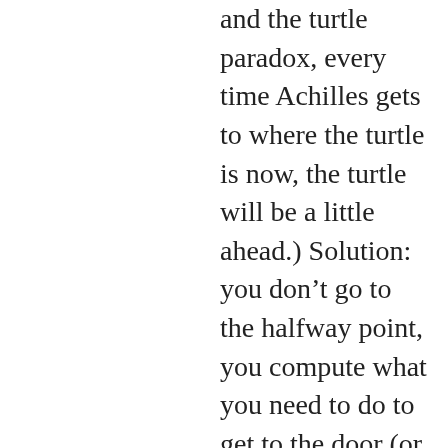and the turtle paradox, every time Achilles gets to where the turtle is now, the turtle will be a little ahead.) Solution: you don't go to the halfway point, you compute what you need to do to get to the door (or where the turtle will be, not where he is now).
EU: “or sooner or later you will come to steps that cannot be broken down any more.”
Well, that’s the thing,